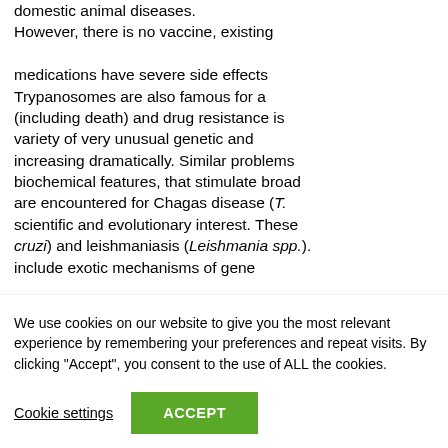domestic animal diseases. However, there is no vaccine, existing medications have severe side effects (including death) and drug resistance is increasing dramatically. Similar problems are encountered for Chagas disease (T. cruzi) and leishmaniasis (Leishmania spp.). Trypanosomes are also famous for a variety of very unusual genetic and biochemical features, that stimulate broad scientific and evolutionary interest. These include exotic mechanisms of gene expression like polycistronic transcription of genes (ref), maturation of pre-messenger RNA by trans-splicing (ref).
We use cookies on our website to give you the most relevant experience by remembering your preferences and repeat visits. By clicking "Accept", you consent to the use of ALL the cookies.